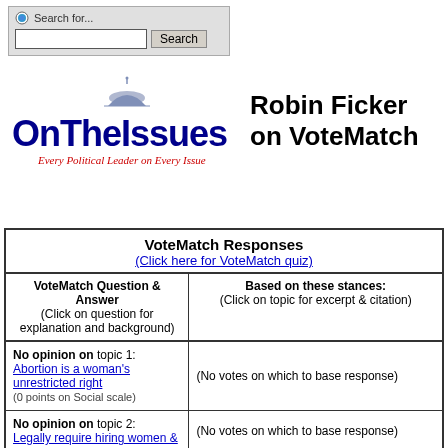[Figure (logo): OnTheIssues logo with dome icon and tagline 'Every Political Leader on Every Issue']
Robin Ficker on VoteMatch
| VoteMatch Question & Answer | Based on these stances: |
| --- | --- |
| No opinion on topic 1: Abortion is a woman's unrestricted right (0 points on Social scale) | (No votes on which to base response) |
| No opinion on topic 2: Legally require hiring women & | (No votes on which to base response) |